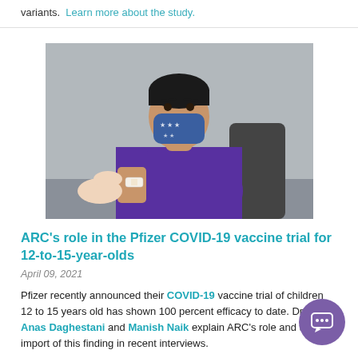variants. Learn more about the study.
[Figure (photo): A young person in a purple shirt and star-patterned face mask receiving a bandage or vaccination on their upper arm from a healthcare worker.]
ARC's role in the Pfizer COVID-19 vaccine trial for 12-to-15-year-olds
April 09, 2021
Pfizer recently announced their COVID-19 vaccine trial of children 12 to 15 years old has shown 100 percent efficacy to date. Drs. Anas Daghestani and Manish Naik explain ARC's role and the import of this finding in recent interviews.